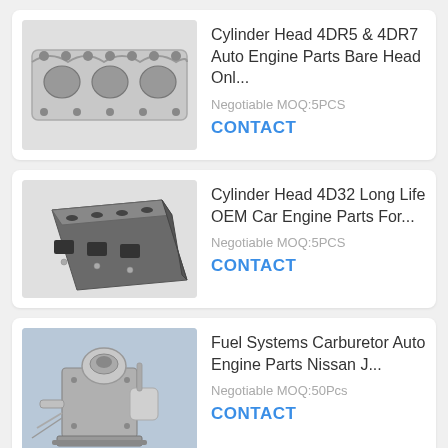[Figure (photo): Cylinder head engine part, flat view showing bolt holes and ports, grayscale]
Cylinder Head 4DR5 & 4DR7 Auto Engine Parts Bare Head Onl...
Negotiable MOQ:5PCS
CONTACT
[Figure (photo): Cylinder head engine part, angled 3D view showing side ports and bolt holes, dark metallic finish]
Cylinder Head 4D32 Long Life OEM Car Engine Parts For...
Negotiable MOQ:5PCS
CONTACT
[Figure (photo): Carburetor fuel system auto engine part, metallic silver, complex mechanical assembly]
Fuel Systems Carburetor Auto Engine Parts Nissan J...
Negotiable MOQ:50Pcs
CONTACT